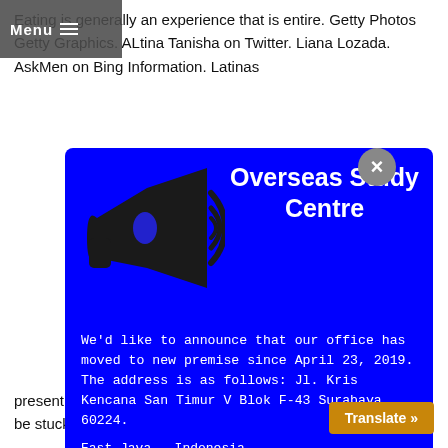Eating is generally an experience that is entire. Getty Photos Getty Graphics. ALtina Tanisha on Twitter. Liana Lozada. AskMen on Bing Information. Latinas
[Figure (infographic): Blue popup/modal overlay for Overseas Study Centre featuring a megaphone icon on the left side and announcement text on the right. Contains title 'Overseas Study Centre', announcement text about office move to Jl. Kris Kencana San Timur V Blok F-43 Surabaya, 60224, since April 23, 2019. East Java - Indonesia. Whatsapp: +62813595308880, +628165424106. Website: www.oscindo.co.id. A grey X close button in top right corner.]
present yet not protruding buttocks. After which child is likely to be stuck making use of the Sofia Vergara and Jennifer